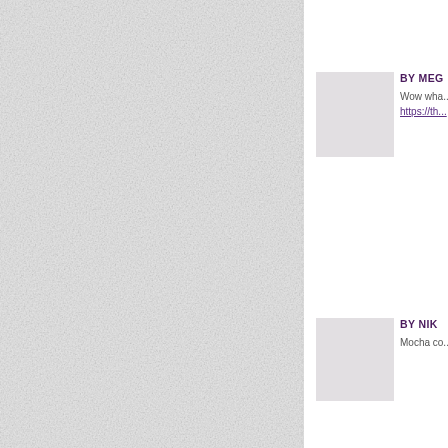[Figure (photo): Left panel showing textured/patterned light grey background, approximately half the page width, with a vertical dashed divider on the right edge.]
BY MEG
Wow wha...
https://th...
BY NIK
Mocha co...
BY LISA
Woo hoo...